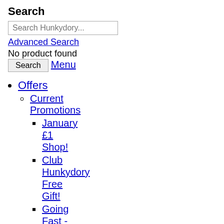Search
Search Hunkydory...
Advanced Search
No product found
Search
Menu
Offers
Current Promotions
January £1 Shop!
Club Hunkydory Free Gift!
Going Fast - Limited stock!
View All